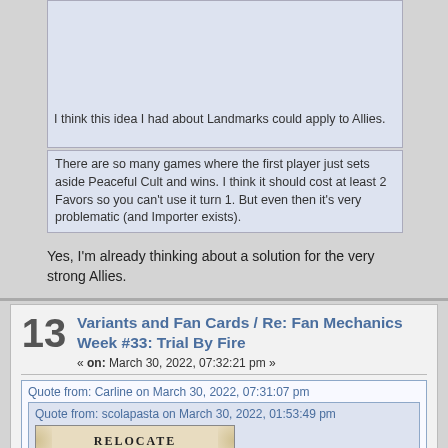I think this idea I had about Landmarks could apply to Allies.
There are so many games where the first player just sets aside Peaceful Cult and wins. I think it should cost at least 2 Favors so you can't use it turn 1. But even then it's very problematic (and Importer exists).
Yes, I'm already thinking about a solution for the very strong Allies.
13  Variants and Fan Cards / Re: Fan Mechanics Week #33: Trial By Fire
« on: March 30, 2022, 07:32:21 pm »
Quote from: Carline on March 30, 2022, 07:31:07 pm
Quote from: scolapasta on March 30, 2022, 01:53:49 pm
[Figure (illustration): A card named RELOCATE showing warriors on horseback in a scroll-style game card]